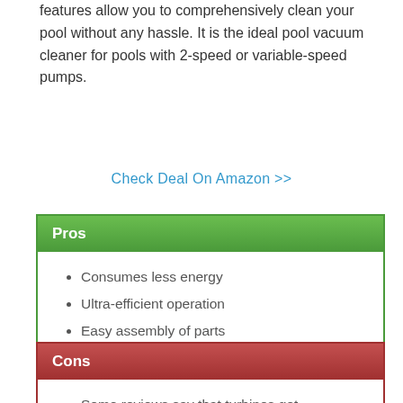features allow you to comprehensively clean your pool without any hassle. It is the ideal pool vacuum cleaner for pools with 2-speed or variable-speed pumps.
Check Deal On Amazon >>
Pros
Consumes less energy
Ultra-efficient operation
Easy assembly of parts
Cons
Some reviews say that turbines get